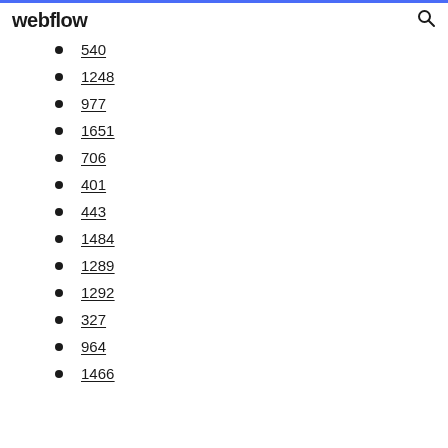webflow
540
1248
977
1651
706
401
443
1484
1289
1292
327
964
1466